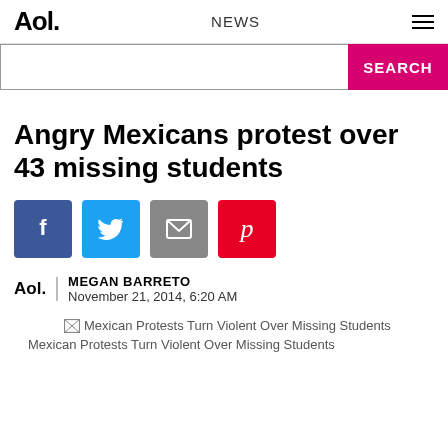Aol. | NEWS
Angry Mexicans protest over 43 missing students
[Figure (infographic): Social sharing buttons: Facebook, Twitter, Email, Pinterest]
MEGAN BARRETO
November 21, 2014, 6:20 AM
[Figure (photo): Mexican Protests Turn Violent Over Missing Students (image placeholder with broken image icon)]
Mexican Protests Turn Violent Over Missing Students